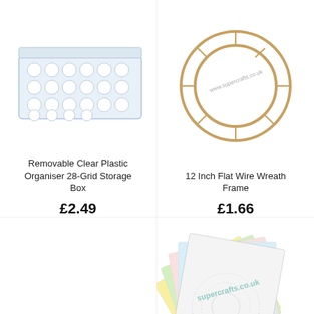[Figure (photo): Removable Clear Plastic Organiser 28-Grid Storage Box — a transparent plastic rectangular compartment organiser box viewed from above/angle]
Removable Clear Plastic Organiser 28-Grid Storage Box
£2.49
[Figure (photo): 12 Inch Flat Wire Wreath Frame — a circular gold/brass wire wreath frame with internal wire supports, photographed on white background with supercrafts.co.uk watermark]
12 Inch Flat Wire Wreath Frame
£1.66
[Figure (photo): A fan of pastel-coloured craft papers or card sheets with printed designs and a grey mesh/doily item, with supercrafts.co.uk watermark and teal scissors logo badge]